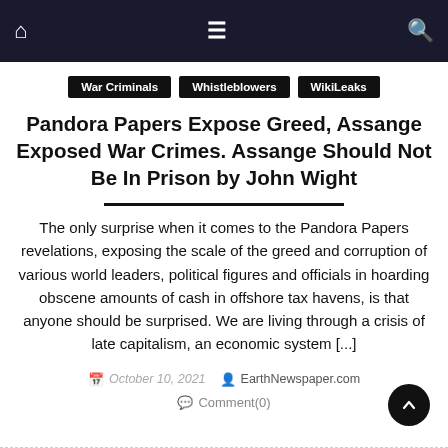Nav bar with home, menu, and search icons
War Criminals
Whistleblowers
WikiLeaks
Pandora Papers Expose Greed, Assange Exposed War Crimes. Assange Should Not Be In Prison by John Wight
The only surprise when it comes to the Pandora Papers revelations, exposing the scale of the greed and corruption of various world leaders, political figures and officials in hoarding obscene amounts of cash in offshore tax havens, is that anyone should be surprised. We are living through a crisis of late capitalism, an economic system [...]
October 10, 2021   EarthNewspaper.com   Comment(0)